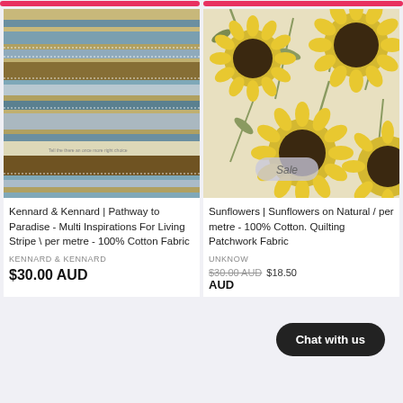[Figure (photo): Kennard & Kennard Pathway to Paradise Multi Inspirations For Living Stripe quilting fabric - striped fabric with blue and olive/gold horizontal stripes, text panels, and floral border rows]
[Figure (photo): Sunflowers on Natural fabric - cream/beige background with large yellow sunflowers and green foliage, with a Sale badge overlay]
Kennard & Kennard | Pathway to Paradise - Multi Inspirations For Living Stripe \ per metre - 100% Cotton Fabric
KENNARD & KENNARD
$30.00 AUD
Sunflowers | Sunflowers on Natural / per metre - 100% Cotton. Quilting Patchwork Fabric
UNKNOWN
$30.00 AUD  $18.50 AUD